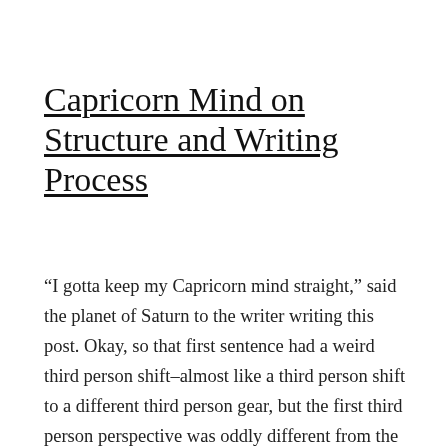Capricorn Mind on Structure and Writing Process
“I gotta keep my Capricorn mind straight,” said the planet of Saturn to the writer writing this post. Okay, so that first sentence had a weird third person shift–almost like a third person shift to a different third person gear, but the first third person perspective was oddly different from the latter, which was equally bizarre but uniquely […]